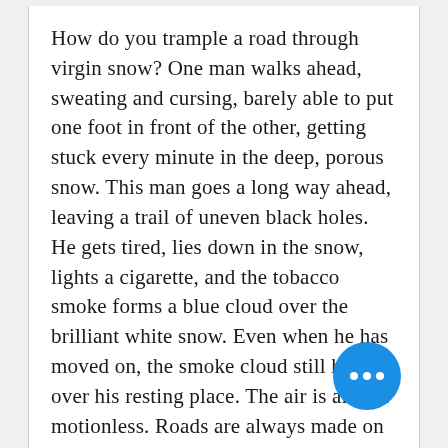How do you trample a road through virgin snow? One man walks ahead, sweating and cursing, barely able to put one foot in front of the other, getting stuck every minute in the deep, porous snow. This man goes a long way ahead, leaving a trail of uneven black holes. He gets tired, lies down in the snow, lights a cigarette, and the tobacco smoke forms a blue cloud over the brilliant white snow. Even when he has moved on, the smoke cloud still hovers over his resting place. The air is almost motionless. Roads are always made on calm days, so that human labor is not swept away by wind. A man makes his own landmarks in this unbounded snowy waste: a rock, a tall